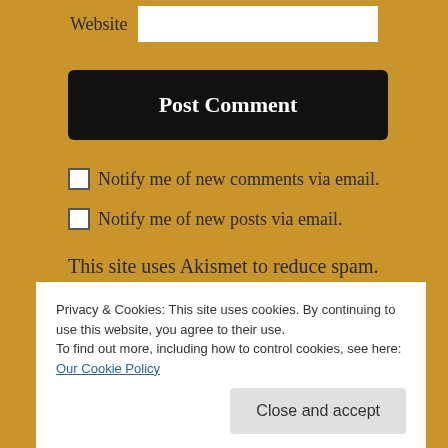Website
Post Comment
Notify me of new comments via email.
Notify me of new posts via email.
This site uses Akismet to reduce spam. Learn how your comment data is processed.
Privacy & Cookies: This site uses cookies. By continuing to use this website, you agree to their use.
To find out more, including how to control cookies, see here: Our Cookie Policy
Close and accept